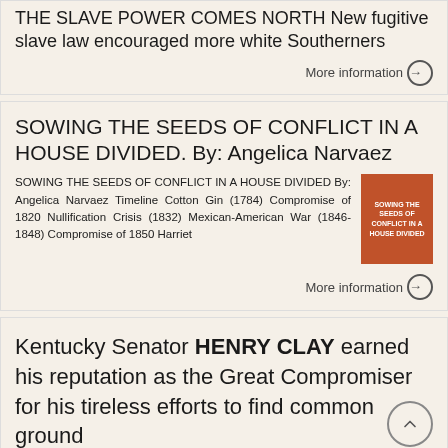THE SLAVE POWER COMES NORTH New fugitive slave law encouraged more white Southerners
More information →
SOWING THE SEEDS OF CONFLICT IN A HOUSE DIVIDED. By: Angelica Narvaez
SOWING THE SEEDS OF CONFLICT IN A HOUSE DIVIDED By: Angelica Narvaez Timeline Cotton Gin (1784) Compromise of 1820 Nullification Crisis (1832) Mexican-American War (1846-1848) Compromise of 1850 Harriet
[Figure (illustration): Brown/orange book cover thumbnail with white text reading SOWING THE SEEDS OF CONFLICT IN A HOUSE DIVIDED]
More information →
Kentucky Senator HENRY CLAY earned his reputation as the Great Compromiser for his tireless efforts to find common ground